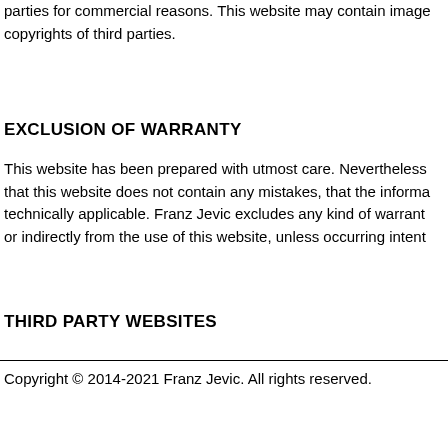parties for commercial reasons. This website may contain images copyrights of third parties.
EXCLUSION OF WARRANTY
This website has been prepared with utmost care. Nevertheless, that this website does not contain any mistakes, that the information technically applicable. Franz Jevic excludes any kind of warranty or indirectly from the use of this website, unless occurring intentionally.
THIRD PARTY WEBSITES
Copyright © 2014-2021 Franz Jevic. All rights reserved.